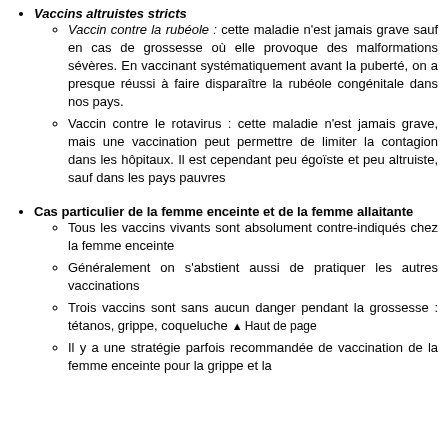Vaccins altruistes stricts
Vaccin contre la rubéole : cette maladie n'est jamais grave sauf en cas de grossesse où elle provoque des malformations sévères. En vaccinant systématiquement avant la puberté, on a presque réussi à faire disparaître la rubéole congénitale dans nos pays.
Vaccin contre le rotavirus : cette maladie n'est jamais grave, mais une vaccination peut permettre de limiter la contagion dans les hôpitaux. Il est cependant peu égoïste et peu altruiste, sauf dans les pays pauvres
Cas particulier de la femme enceinte et de la femme allaitante
Tous les vaccins vivants sont absolument contre-indiqués chez la femme enceinte
Généralement on s'abstient aussi de pratiquer les autres vaccinations
Trois vaccins sont sans aucun danger pendant la grossesse : tétanos, grippe, coqueluche
Il y a une stratégie parfois recommandée de vaccination de la femme enceinte pour la grippe et la